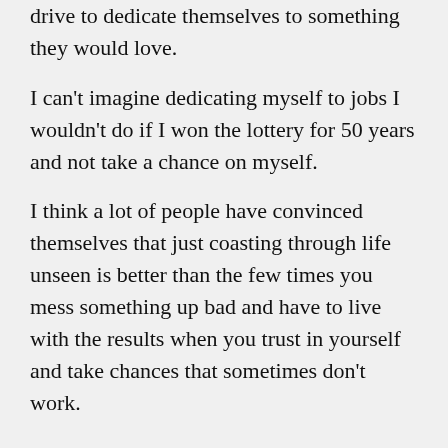drive to dedicate themselves to something they would love.
I can't imagine dedicating myself to jobs I wouldn't do if I won the lottery for 50 years and not take a chance on myself.
I think a lot of people have convinced themselves that just coasting through life unseen is better than the few times you mess something up bad and have to live with the results when you trust in yourself and take chances that sometimes don't work.